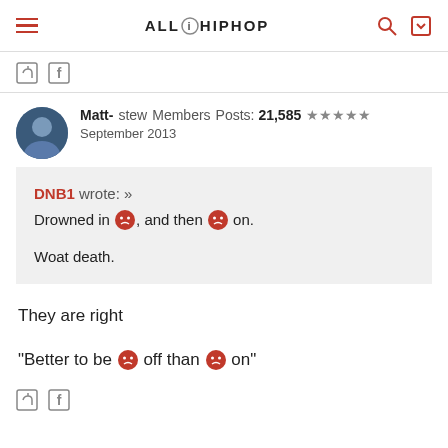ALLHIPHOP
Matt- stew Members Posts: 21,585 ★★★★★ September 2013
DNB1 wrote: » Drowned in [emoji], and then [emoji] on.

Woat death.
They are right

"Better to be [emoji] off than [emoji] on"